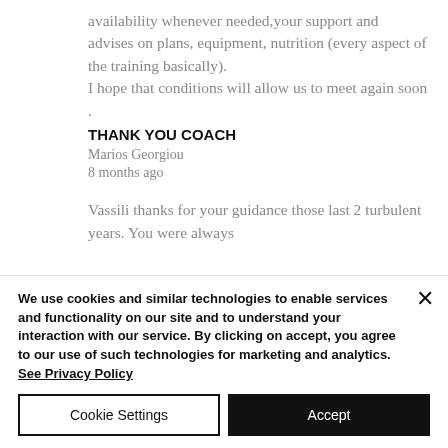availability whenever needed,your support and advises on plans, equipment, nutrition (every aspect of the training basically). I hope that conditions will allow us to meet again soon .
THANK YOU COACH
Marios Georgiou
8 months ago
Vassili thanks for your guidance those last 2 turbulent years. You were always
We use cookies and similar technologies to enable services and functionality on our site and to understand your interaction with our service. By clicking on accept, you agree to our use of such technologies for marketing and analytics. See Privacy Policy
Cookie Settings
Accept